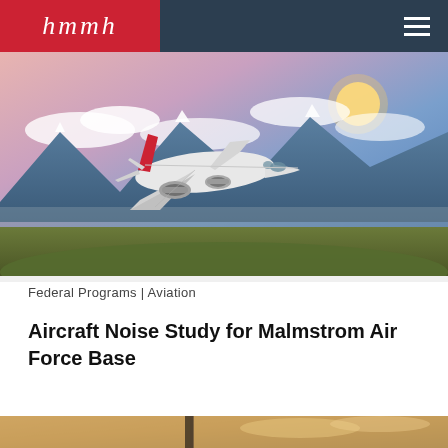hmmh — Federal Programs | Aviation
[Figure (photo): Commercial airplane flying over mountainous landscape at sunset with pink and blue sky and clouds in background]
Federal Programs | Aviation
Aircraft Noise Study for Malmstrom Air Force Base
[Figure (photo): Partial view of another aircraft or scene at bottom of page, cut off]